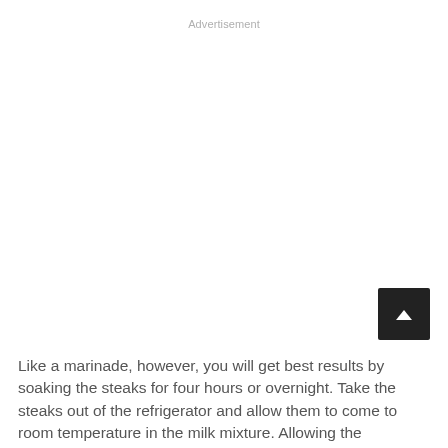Advertisement
[Figure (other): Advertisement placeholder space (blank white area)]
Like a marinade, however, you will get best results by soaking the steaks for four hours or overnight. Take the steaks out of the refrigerator and allow them to come to room temperature in the milk mixture. Allowing the steaks to warm up allows the milk to penetrate the meat more,